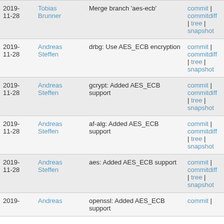| Date | Author | Commit message | Actions |
| --- | --- | --- | --- |
| 2019-11-28 | Tobias Brunner | Merge branch 'aes-ecb' | commit | commitdiff | tree | snapshot |
| 2019-11-28 | Andreas Steffen | drbg: Use AES_ECB encryption | commit | commitdiff | tree | snapshot |
| 2019-11-28 | Andreas Steffen | gcrypt: Added AES_ECB support | commit | commitdiff | tree | snapshot |
| 2019-11-28 | Andreas Steffen | af-alg: Added AES_ECB support | commit | commitdiff | tree | snapshot |
| 2019-11-28 | Andreas Steffen | aes: Added AES_ECB support | commit | commitdiff | tree | snapshot |
| 2019-11-28 | Andreas Steffen | openssl: Added AES_ECB support | commit | |